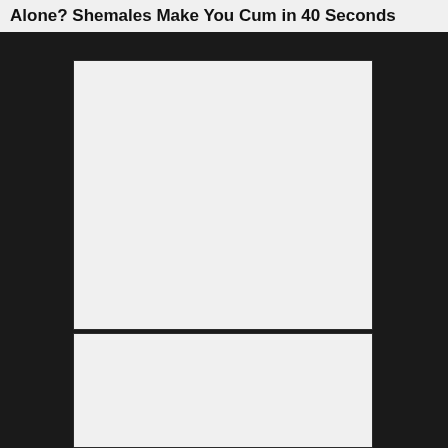Alone? Shemales Make You Cum in 40 Seconds
[Figure (other): Large light gray rectangular image placeholder, top portion]
[Figure (other): Light gray rectangular image placeholder, bottom portion]